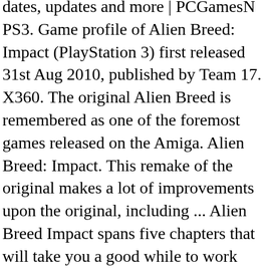dates, updates and more | PCGamesN PS3. Game profile of Alien Breed: Impact (PlayStation 3) first released 31st Aug 2010, published by Team 17. X360. The original Alien Breed is remembered as one of the foremost games released on the Amiga. Alien Breed: Impact. This remake of the original makes a lot of improvements upon the original, including ... Alien Breed Impact spans five chapters that will take you a good while to work through. Daily Dispatch Videos Alien Breedâ“cents Impact is an explosive science fiction arcade-shooter that resurrects a a lot revered franchise with an epic story, swarms of very smart alien enemies, high-impact weapons, extremely detailed and wealthy environments; all carried out with very good engineering inside an state-of-the-art gaming expertise. PC. 00:20 To fix I went into the game's